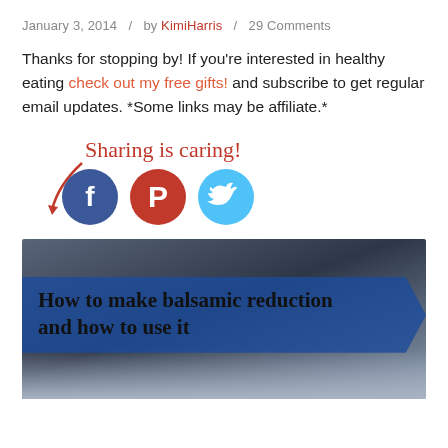January 3, 2014  /  by KimiHarris  /  29 Comments
Thanks for stopping by! If you're interested in healthy eating check out my free gifts! and subscribe to get regular email updates. *Some links may be affiliate.*
[Figure (infographic): Sharing is caring! social share buttons for Facebook, Pinterest, and Twitter with a red arrow and cursive text]
[Figure (photo): Photo with blue banner overlay reading: How to make balsamic reduction and how to use it]